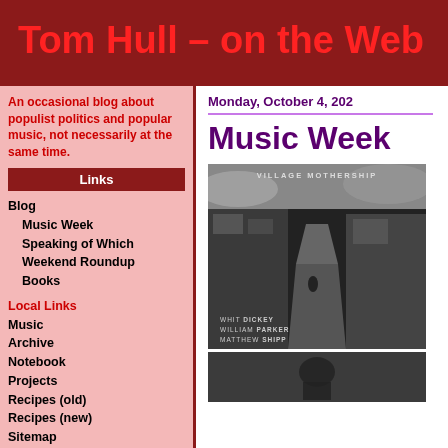Tom Hull – on the Web
An occasional blog about populist politics and popular music, not necessarily at the same time.
Links
Blog
Music Week
Speaking of Which
Weekend Roundup
Books
Local Links
Music
Archive
Notebook
Projects
Recipes (old)
Recipes (new)
Sitemap
Contact
Ocston (old)
My Twitter
Monday, October 4, 202
Music Week
[Figure (photo): Album cover for Village Mothership by Whit Dickey, William Parker, Matthew Shipp. Black and white urban scene with text at top and bottom.]